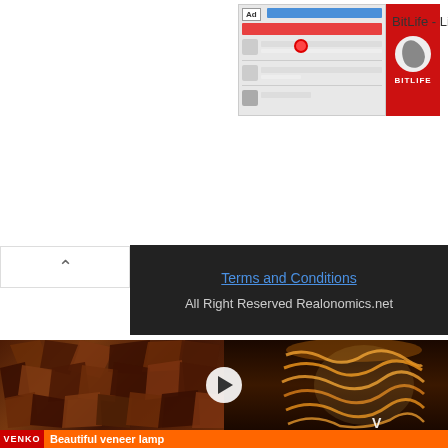[Figure (screenshot): Ad banner for BitLife - Life S game showing a mobile game interface screenshot with red background and BitLife logo]
BitLife - Life S
Terms and Conditions
All Right Reserved Realonomics.net
[Figure (photo): Split image showing two photos: left side shows a wood mosaic wall panel with dark brown irregular wood piece tiles, right side shows an illuminated lamp shade with wavy layered veneer pattern glowing amber/gold. A play button overlay appears in the center. Below shows VENKO logo and text 'Beautiful veneer lamp']
Beautiful veneer lamp